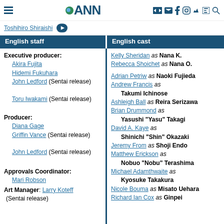ANN - Anime News Network
Toshihiro Shiraishi
English staff | English cast
Executive producer: Akira Fujita, Hidemi Fukuhara, John Ledford (Sentai release), Toru Iwakami (Sentai release). Producer: Diana Gage, Griffin Vance (Sentai release), John Ledford (Sentai release). Approvals Coordinator: Mari Robson. Art Manager: Larry Koteff (Sentai release)
Kelly Sheridan as Nana K.
Rebecca Shoichet as Nana O.
Adrian Petriw as Naoki Fujieda
Andrew Francis as Takumi Ichinose
Ashleigh Ball as Reira Serizawa
Brian Drummond as Yasushi "Yasu" Takagi
David A. Kaye as Shinichi "Shin" Okazaki
Jeremy From as Shoji Endo
Matthew Erickson as Nobuo "Nobu" Terashima
Michael Adamthwaite as Kyosuke Takakura
Nicole Bouma as Misato Uehara
Richard Ian Cox as Ginpei